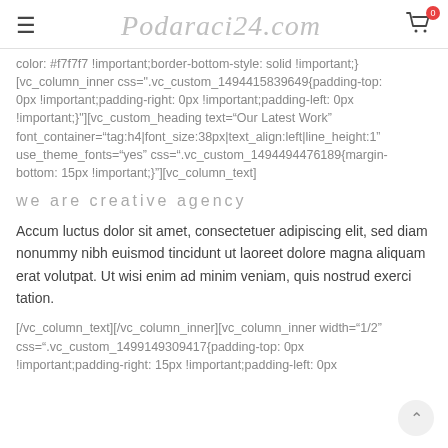Podaraci24.com
color: #f7f7f7 !important;border-bottom-style: solid !important;} [vc_column_inner css=".vc_custom_1494415839649{padding-top: 0px !important;padding-right: 0px !important;padding-left: 0px !important;}"][vc_custom_heading text="Our Latest Work" font_container="tag:h4|font_size:38px|text_align:left|line_height:1" use_theme_fonts="yes" css=".vc_custom_1494494476189{margin-bottom: 15px !important;}"][vc_column_text]
we are creative agency
Accum luctus dolor sit amet, consectetuer adipiscing elit, sed diam nonummy nibh euismod tincidunt ut laoreet dolore magna aliquam erat volutpat. Ut wisi enim ad minim veniam, quis nostrud exerci tation.
[/vc_column_text][/vc_column_inner][vc_column_inner width="1/2" css=".vc_custom_1499149309417{padding-top: 0px !important;padding-right: 15px !important;padding-left: 0px